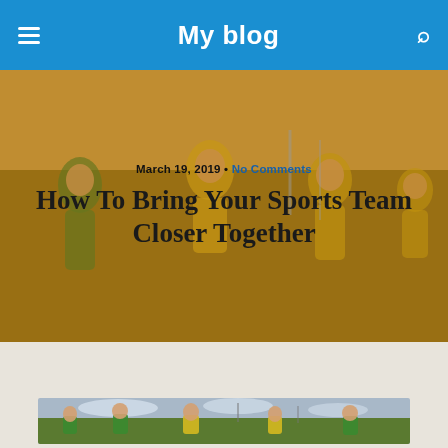My blog
[Figure (photo): Hero image of children in green and yellow jerseys running on a sports field, with golden/amber color overlay]
How To Bring Your Sports Team Closer Together
March 19, 2019 • No Comments
Share  Tweet  Pin  Mail  SMS
[Figure (photo): Children in green and yellow jerseys running on a sports field, daytime, outdoors]